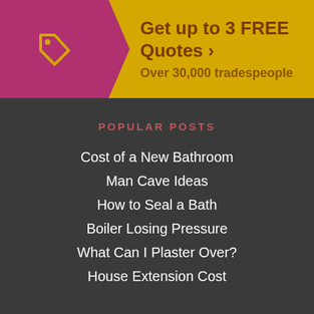[Figure (infographic): Yellow banner with pink/purple tag icon on left and text 'Get up to 3 FREE Quotes > Over 30,000 tradespeople' on right]
POPULAR POSTS
Cost of a New Bathroom
Man Cave Ideas
How to Seal a Bath
Boiler Losing Pressure
What Can I Plaster Over?
House Extension Cost
INDOORS
Doors & Windows